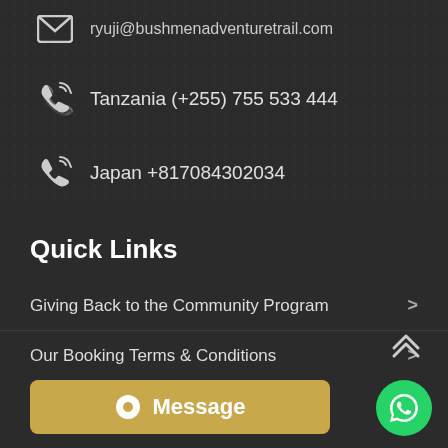ryuji@bushmenadventuretrail.com
Tanzania (+255) 755 533 444
Japan +817084302034
Quick Links
Giving Back to the Community Program
Our Booking Terms & Conditions
Why you Choose Bushmen
Excursion and Hike
Message